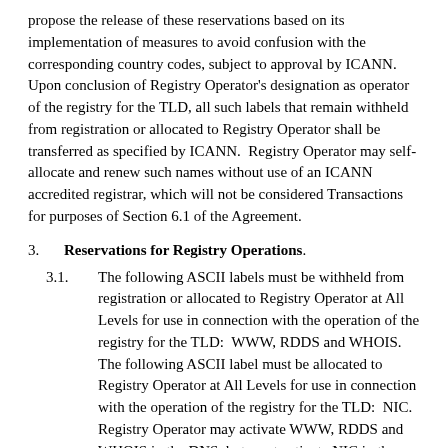propose the release of these reservations based on its implementation of measures to avoid confusion with the corresponding country codes, subject to approval by ICANN. Upon conclusion of Registry Operator's designation as operator of the registry for the TLD, all such labels that remain withheld from registration or allocated to Registry Operator shall be transferred as specified by ICANN. Registry Operator may self-allocate and renew such names without use of an ICANN accredited registrar, which will not be considered Transactions for purposes of Section 6.1 of the Agreement.
3. Reservations for Registry Operations.
3.1. The following ASCII labels must be withheld from registration or allocated to Registry Operator at All Levels for use in connection with the operation of the registry for the TLD: WWW, RDDS and WHOIS. The following ASCII label must be allocated to Registry Operator at All Levels for use in connection with the operation of the registry for the TLD: NIC. Registry Operator may activate WWW, RDDS and WHOIS in the DNS, but must activate NIC in the DNS, as necessary for the operation of the TLD. None of WWW, RDDS,